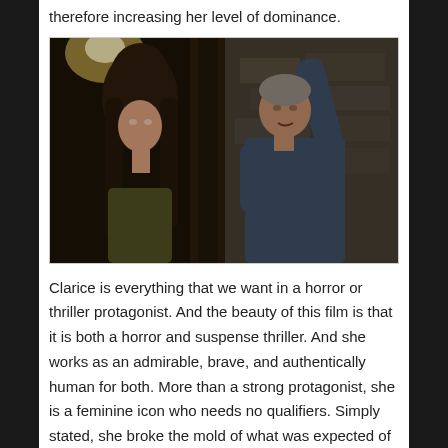therefore increasing her level of dominance.
[Figure (photo): A scene from a film showing a young woman with brown hair facing an older man in a blue jumpsuit who has his arm raised against a stone wall backdrop with dim lighting.]
Clarice is everything that we want in a horror or thriller protagonist. And the beauty of this film is that it is both a horror and suspense thriller. And she works as an admirable, brave, and authentically human for both. More than a strong protagonist, she is a feminine icon who needs no qualifiers. Simply stated, she broke the mold of what was expected of female protagonists in general, and specifically horror. All the while she is working diligently at tracking down Buffalo Bill and learning how to best work with Dr. Lecter, she faces both overt and subtle discrimination but does not flinch a muscle. It's her sheer